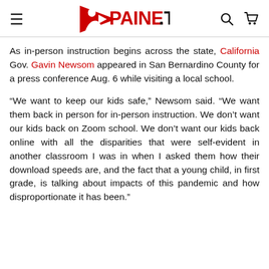PAINE.TV
As in-person instruction begins across the state, California Gov. Gavin Newsom appeared in San Bernardino County for a press conference Aug. 6 while visiting a local school.
“We want to keep our kids safe,” Newsom said. “We want them back in person for in-person instruction. We don’t want our kids back on Zoom school. We don’t want our kids back online with all the disparities that were self-evident in another classroom I was in when I asked them how their download speeds are, and the fact that a young child, in first grade, is talking about impacts of this pandemic and how disproportionate it has been.”